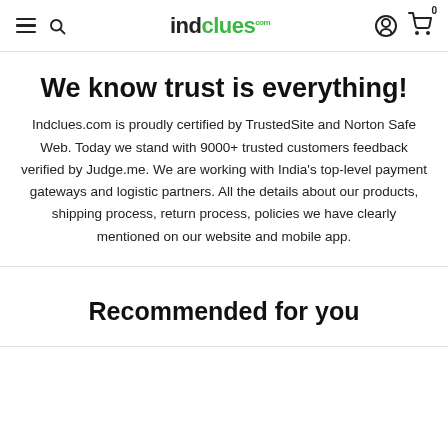indclues.com — navigation header with hamburger menu, search icon, logo, user account icon, cart icon with badge 0
We know trust is everything!
Indclues.com is proudly certified by TrustedSite and Norton Safe Web. Today we stand with 9000+ trusted customers feedback verified by Judge.me. We are working with India's top-level payment gateways and logistic partners. All the details about our products, shipping process, return process, policies we have clearly mentioned on our website and mobile app.
Recommended for you